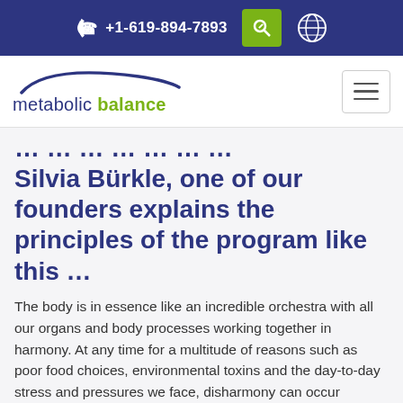+1-619-894-7893
[Figure (logo): Metabolic Balance logo with arc graphic and tagline 'metabolic balance']
Silvia Bürkle, one of our founders explains the principles of the program like this …
The body is in essence like an incredible orchestra with all our organs and body processes working together in harmony. At any time for a multitude of reasons such as poor food choices, environmental toxins and the day-to-day stress and pressures we face, disharmony can occur leading to ill health and poor metabolic balance.
By learning to understand what your body needs to nourish itself, we can be the conductor of our own health. We can bring our metabolism back into …